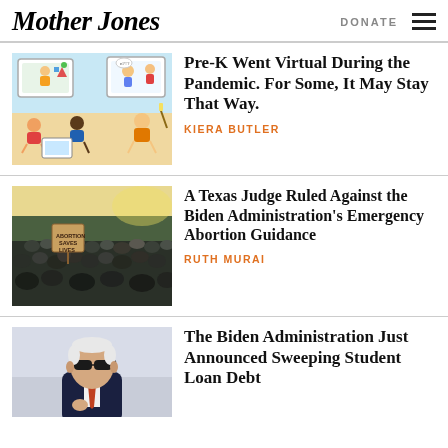Mother Jones | DONATE
[Figure (illustration): Colorful illustration of children doing virtual Pre-K learning on screens, with a teacher and students in a digital classroom setting]
Pre-K Went Virtual During the Pandemic. For Some, It May Stay That Way.
KIERA BUTLER
[Figure (photo): Photo of a protest crowd, with someone holding a sign reading ABORTION SAVES LIVES]
A Texas Judge Ruled Against the Biden Administration's Emergency Abortion Guidance
RUTH MURAI
[Figure (photo): Photo of President Biden wearing sunglasses and a suit]
The Biden Administration Just Announced Sweeping Student Loan Debt